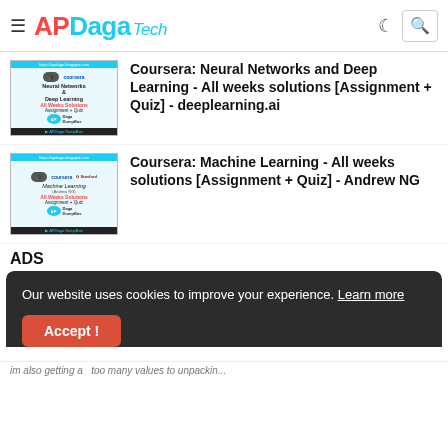APDaga Tech
[Figure (screenshot): Thumbnail image for Coursera Neural Networks and Deep Learning course - APDaga DumpBox]
Coursera: Neural Networks and Deep Learning - All weeks solutions [Assignment + Quiz] - deeplearning.ai
[Figure (screenshot): Thumbnail image for Coursera Machine Learning course by Andrew NG - APDaga DumpBox]
Coursera: Machine Learning - All weeks solutions [Assignment + Quiz] - Andrew NG
ADS
Our website uses cookies to improve your experience. Learn more
im also getting a   too many values to unpackin...